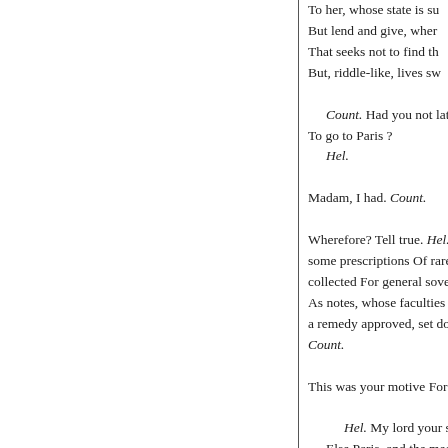To her, whose state is su
But lend and give, wher
That seeks not to find th
But, riddle-like, lives sw

  Count. Had you not lat
To go to Paris ?
  Hel.

Madam, I had. Count.

Wherefore? Tell true. Hel.
some prescriptions Of rare an
collected For general soverei
As notes, whose faculties inc
a remedy approved, set down
Count.

This was your motive For P

  Hel. My lord your son
Else Paris, and the medi
Had, from the conversat
Haply, been absent then.
  Count.